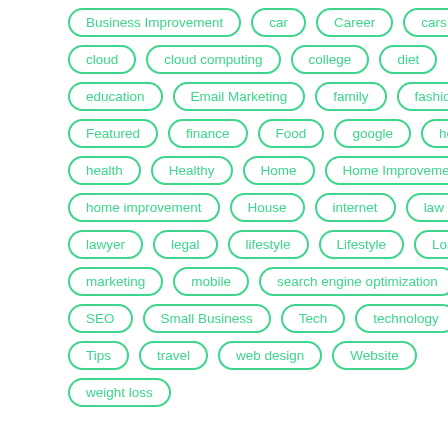Business Improvement
car
Career
cars
cloud
cloud computing
college
diet
education
Email Marketing
family
fashion
Featured
finance
Food
google
health
health
Healthy
Home
Home Improvement
home improvement
House
internet
law
lawyer
legal
lifestyle
Lifestyle
Loans
marketing
mobile
search engine optimization
SEO
Small Business
Tech
technology
Tips
travel
web design
Website
weight loss